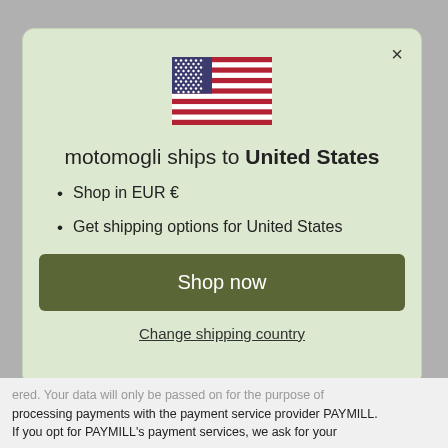[Figure (illustration): US flag emoji / icon centered in modal]
motomogli ships to United States
Shop in EUR €
Get shipping options for United States
Shop now
Change shipping country
ered. Your data will only be passed on for the purpose of processing payments with the payment service provider PAYMILL. If you opt for PAYMILL's payment services, we ask for your